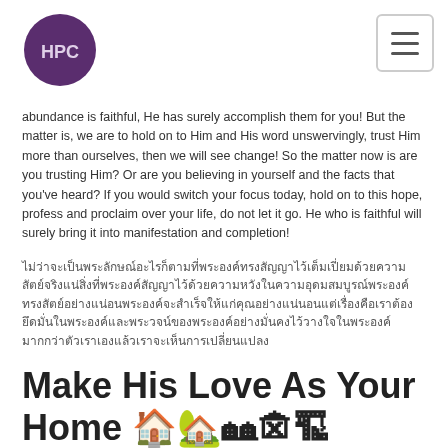HPC
abundance is faithful, He has surely accomplish them for you! But the matter is, we are to hold on to Him and His word unswervingly, trust Him more than ourselves, then we will see change! So the matter now is are you trusting Him? Or are you believing in yourself and the facts that you've heard? If you would switch your focus today, hold on to this hope, profess and proclaim over your life, do not let it go. He who is faithful will surely bring it into manifestation and completion!
[Thai text paragraph]
Make His Love As Your Home 🏠🏡🏘🏚🏗